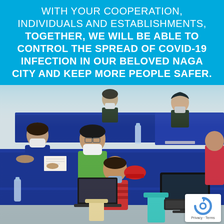WITH YOUR COOPERATION, INDIVIDUALS AND ESTABLISHMENTS, TOGETHER, WE WILL BE ABLE TO CONTROL THE SPREAD OF COVID-19 INFECTION IN OUR BELOVED NAGA CITY AND KEEP MORE PEOPLE SAFER.
[Figure (photo): A meeting or briefing room scene with multiple people wearing face masks seated at blue cloth-covered tables. One person in green shirt and white mask, others in various clothing. A computer monitor and laptop visible in the foreground.]
[Figure (logo): Google reCAPTCHA badge with Privacy and Terms links]